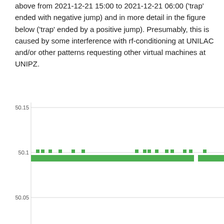above from 2021-12-21 15:00 to 2021-12-21 06:00 ('trap' ended with negative jump) and in more detail in the figure below ('trap' ended by a positive jump). Presumably, this is caused by some interference with rf-conditioning at UNILAC and/or other patterns requesting other virtual machines at UNIPZ.
[Figure (continuous-plot): A time-series plot showing values near 50.1 with a thick green horizontal band just below 50.1, and small green square markers at approximately the 50.1 gridline. Y-axis tick labels: 50.15, 50.1, 50.05. The plot is cropped at the bottom.]